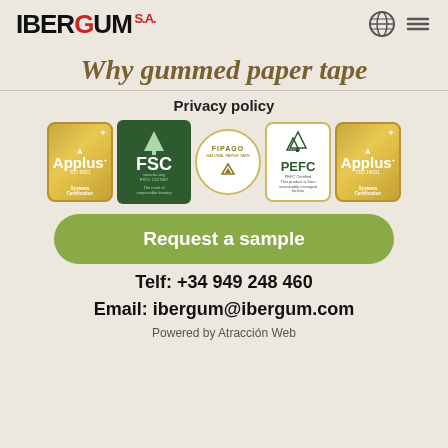IBERGUM S.A.
Why gummed paper tape
Privacy policy
[Figure (logo): Row of five certification logos: Applus ISO 9001, FSC (Forest Stewardship Council), FIPAGO Natural Paper Tape, PEFC, and Applus ISO 14001]
Request a sample
Telf: +34 949 248 460
Email: ibergum@ibergum.com
Powered by Atracción Web